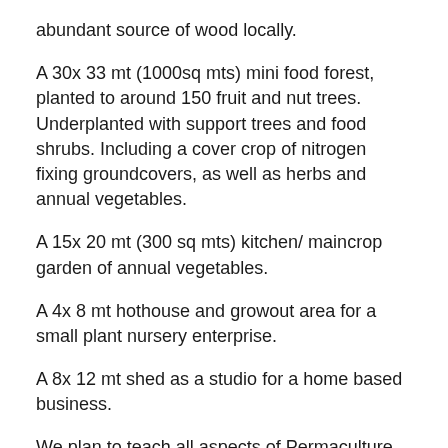abundant source of wood locally.
A 30x 33 mt (1000sq mts) mini food forest, planted to around 150 fruit and nut trees. Underplanted with support trees and food shrubs. Including a cover crop of nitrogen fixing groundcovers, as well as herbs and annual vegetables.
A 15x 20 mt (300 sq mts) kitchen/ maincrop garden of annual vegetables.
A 4x 8 mt hothouse and growout area for a small plant nursery enterprise.
A 8x 12 mt shed as a studio for a home based business.
We plan to teach all aspects of Permaculture from Intro courses to full PDCs. All manner of short courses and workshops; pruning, preserving, propagation,  seed saving, poultry keeping, the list could be endless.
We will be supporting the creation of a local Permaculture group and offering help to other permaculture groups in the